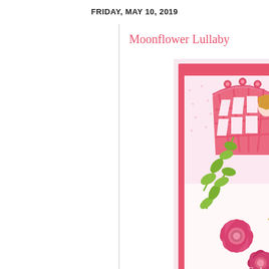FRIDAY, MAY 10, 2019
Moonflower Lullaby
[Figure (photo): A handmade craft card featuring a fairy/girl image with long blonde hair, pink and green die-cut elements including leaves on a vine, a large pink flower with button center, a lattice arch die-cut in pink, patterned paper background with hearts, and gem embellishments. The card has a pink border mat. A watermark/logo reading 'Gale' and a URL 'http://galestamps' is visible in the lower right corner.]